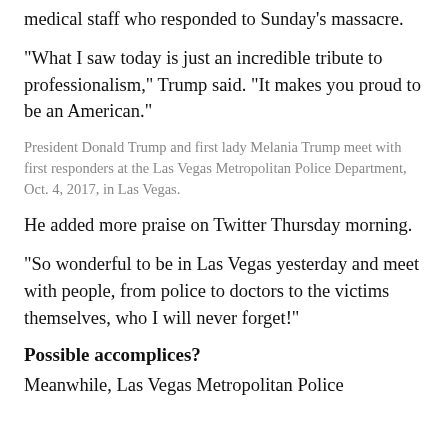medical staff who responded to Sunday’s massacre.
“What I saw today is just an incredible tribute to professionalism,” Trump said. “It makes you proud to be an American.”
President Donald Trump and first lady Melania Trump meet with first responders at the Las Vegas Metropolitan Police Department, Oct. 4, 2017, in Las Vegas.
He added more praise on Twitter Thursday morning.
"So wonderful to be in Las Vegas yesterday and meet with people, from police to doctors to the victims themselves, who I will never forget!"
Possible accomplices?
Meanwhile, Las Vegas Metropolitan Police